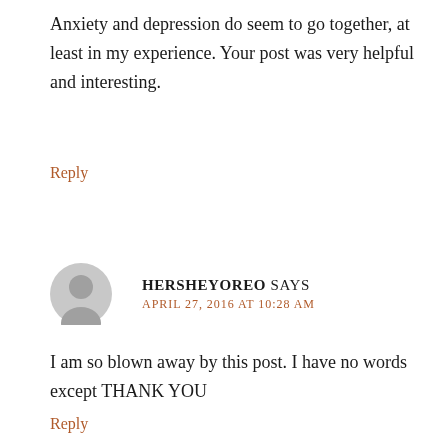Anxiety and depression do seem to go together, at least in my experience. Your post was very helpful and interesting.
Reply
HERSHEYOREO SAYS
APRIL 27, 2016 AT 10:28 AM
I am so blown away by this post. I have no words except THANK YOU
Reply